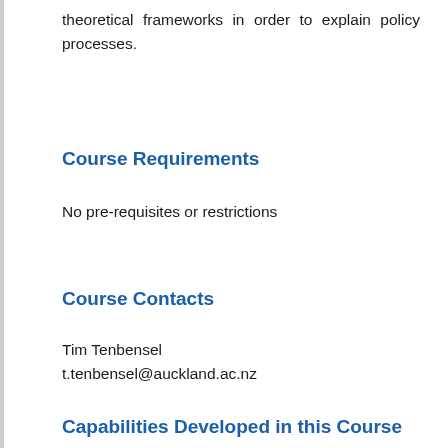theoretical frameworks in order to explain policy processes.
Course Requirements
No pre-requisites or restrictions
Course Contacts
Tim Tenbensel
t.tenbensel@auckland.ac.nz
Capabilities Developed in this Course